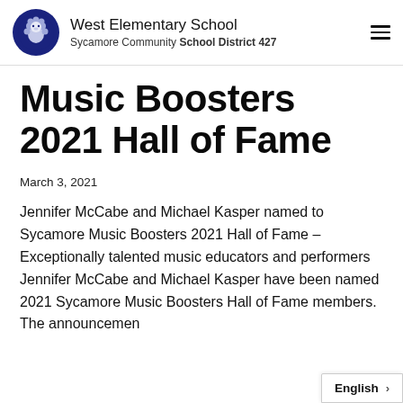West Elementary School — Sycamore Community School District 427
Music Boosters 2021 Hall of Fame
March 3, 2021
Jennifer McCabe and Michael Kasper named to Sycamore Music Boosters 2021 Hall of Fame – Exceptionally talented music educators and performers Jennifer McCabe and Michael Kasper have been named 2021 Sycamore Music Boosters Hall of Fame members. The announcement